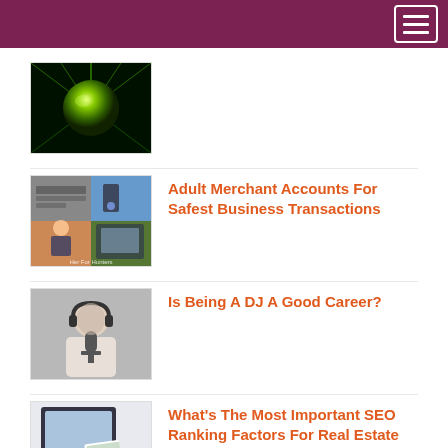[Figure (photo): Glowing green ball or cannabis bud with radiant green light on dark background]
[Figure (photo): Collage of adult merchant account related images: keyboard/laptop, hand holding phone, businesswoman, payment terminal]
Adult Merchant Accounts For Safest Business Transactions
[Figure (photo): Black and white photo of a DJ wearing headphones in front of a microphone]
Is Being A DJ A Good Career?
[Figure (photo): Desktop monitor and scattered photos/cards showing real estate website screens]
What's The Most Important SEO Ranking Factors For Real Estate Websites